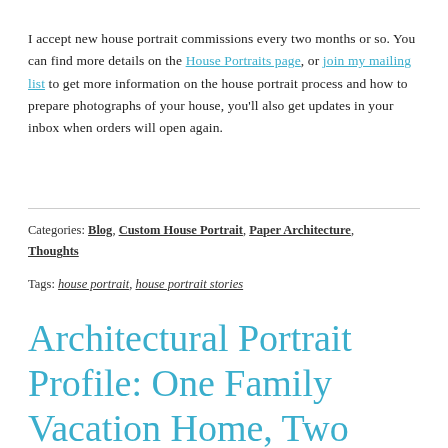I accept new house portrait commissions every two months or so. You can find more details on the House Portraits page, or join my mailing list to get more information on the house portrait process and how to prepare photographs of your house, you'll also get updates in your inbox when orders will open again.
Categories: Blog, Custom House Portrait, Paper Architecture, Thoughts
Tags: house portrait, house portrait stories
Architectural Portrait Profile: One Family Vacation Home, Two